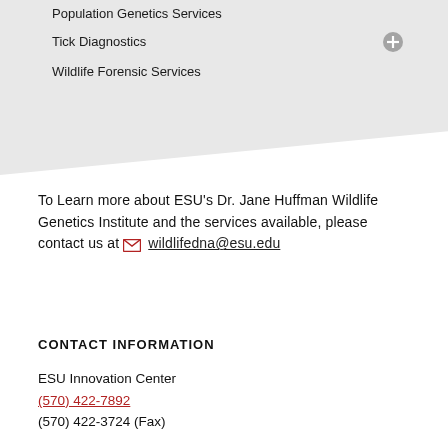Population Genetics Services
Tick Diagnostics
Wildlife Forensic Services
To Learn more about ESU's Dr. Jane Huffman Wildlife Genetics Institute and the services available, please contact us at wildlifedna@esu.edu
CONTACT INFORMATION
ESU Innovation Center
(570) 422-7892
(570) 422-3724 (Fax)